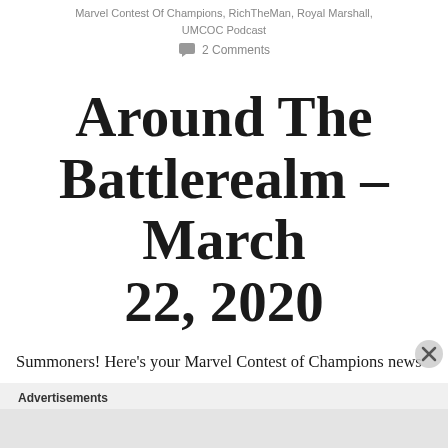Marvel Contest Of Champions, RichTheMan, Royal Marshall, UMCOC Podcast
2 Comments
Around The Battlerealm – March 22, 2020
Summoners! Here's your Marvel Contest of Champions news
Advertisements